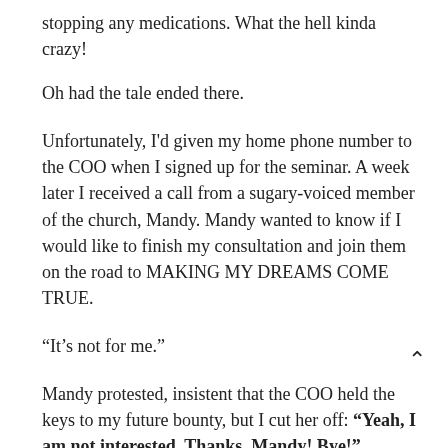stopping any medications. What the hell kinda crazy!
Oh had the tale ended there.
Unfortunately, I'd given my home phone number to the COO when I signed up for the seminar. A week later I received a call from a sugary-voiced member of the church, Mandy. Mandy wanted to know if I would like to finish my consultation and join them on the road to MAKING MY DREAMS COME TRUE.
“It’s not for me.”
Mandy protested, insistent that the COO held the keys to my future bounty, but I cut her off: “Yeah, I am not interested. Thanks, Mandy! Bye!”